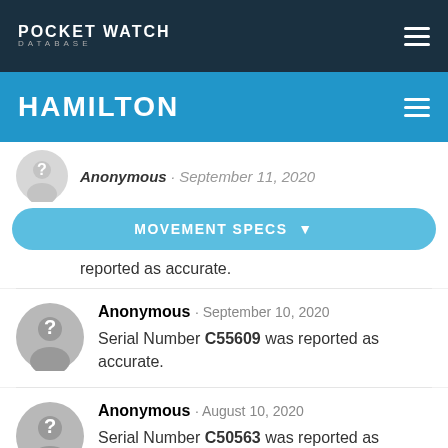POCKET WATCH DATABASE
HAMILTON
Anonymous · September 11, 2020
MOVEMENT SPECS
reported as accurate.
Anonymous · September 10, 2020 — Serial Number C55609 was reported as accurate.
Anonymous · August 10, 2020 — Serial Number C50563 was reported as accurate.